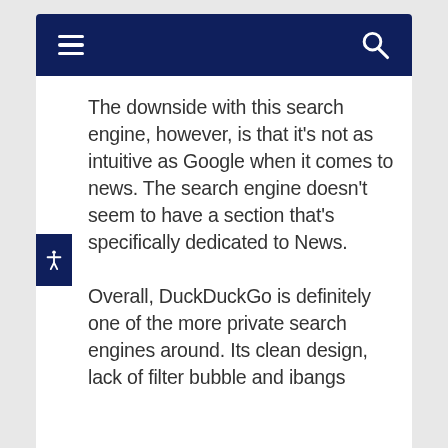[Figure (screenshot): Mobile website navigation bar with dark navy background, hamburger menu icon on left and search/magnifying glass icon on right]
The downside with this search engine, however, is that it's not as intuitive as Google when it comes to news. The search engine doesn't seem to have a section that's specifically dedicated to News.
Overall, DuckDuckGo is definitely one of the more private search engines around. Its clean design, lack of filter bubble and ibangs